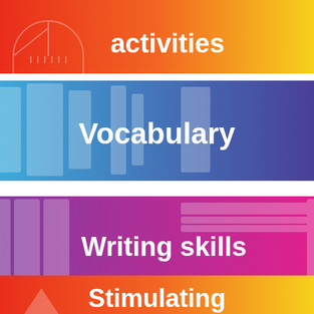[Figure (infographic): Red to yellow gradient banner with white icon of protractor and text 'activities' (partial, top cut off)]
[Figure (infographic): Blue to purple gradient banner with white icons of filing/books and text 'Vocabulary']
[Figure (infographic): Purple to magenta/pink gradient banner with white icons of binders and text 'Writing skills']
[Figure (infographic): Red to yellow gradient banner with white icons and text 'Stimulating computer-based' (partially cut off at bottom)]